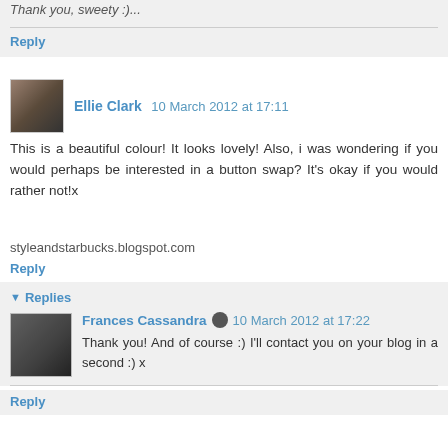Thank you, sweety :)...
Reply
Ellie Clark  10 March 2012 at 17:11
This is a beautiful colour! It looks lovely! Also, i was wondering if you would perhaps be interested in a button swap? It's okay if you would rather not!x
styleandstarbucks.blogspot.com
Reply
Replies
Frances Cassandra  10 March 2012 at 17:22
Thank you! And of course :) I'll contact you on your blog in a second :) x
Reply